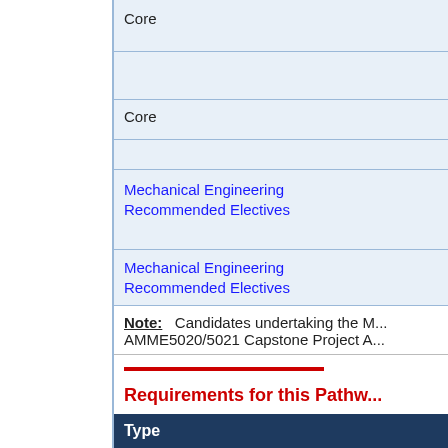| Type |
| --- |
| Core |
| Core |
| Mechanical Engineering
Recommended Electives |
| Mechanical Engineering
Recommended Electives |
Note: Candidates undertaking the M... AMME5020/5021 Capstone Project A...
Requirements for this Pathw...
| Type |
| --- |
|  |
| Core |